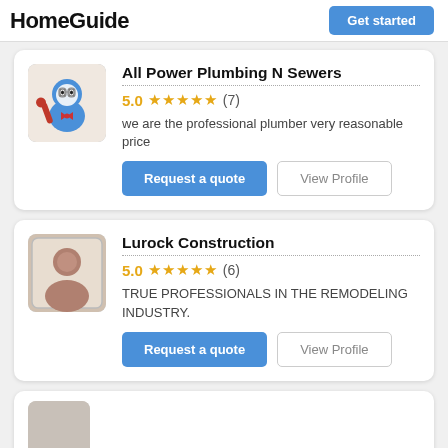HomeGuide | Get started
All Power Plumbing N Sewers
5.0 ★★★★★ (7)
we are the professional plumber very reasonable price
Request a quote  View Profile
Lurock Construction
5.0 ★★★★★ (6)
TRUE PROFESSIONALS IN THE REMODELING INDUSTRY.
Request a quote  View Profile